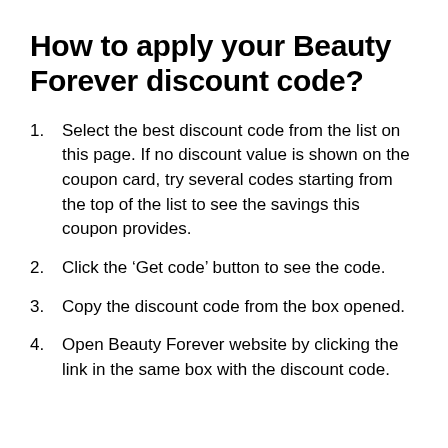How to apply your Beauty Forever discount code?
Select the best discount code from the list on this page. If no discount value is shown on the coupon card, try several codes starting from the top of the list to see the savings this coupon provides.
Click the ‘Get code’ button to see the code.
Copy the discount code from the box opened.
Open Beauty Forever website by clicking the link in the same box with the discount code.